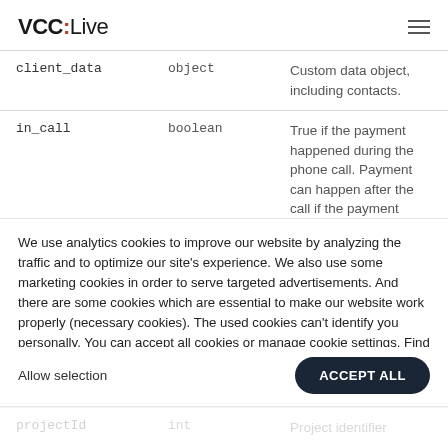VCC:Live
| Field | Type | Description |
| --- | --- | --- |
| client_data | object | Custom data object, including contacts. |
| in_call | boolean | True if the payment happened during the phone call. Payment can happen after the call if the payment process takes longer than ... |
| payment | object | Payment object |
| projectId | int | Project identifier |
We use analytics cookies to improve our website by analyzing the traffic and to optimize our site's experience. We also use some marketing cookies in order to serve targeted advertisements. And there are some cookies which are essential to make our website work properly (necessary cookies). The used cookies can't identify you personally. You can accept all cookies or manage cookie settings. Find out more about cookies in our Cookie Policy.
Allow selection
ACCEPT ALL